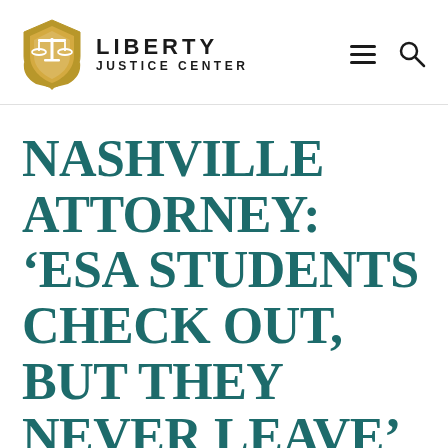[Figure (logo): Liberty Justice Center logo with shield icon and text]
NASHVILLE ATTORNEY: ‘ESA STUDENTS CHECK OUT, BUT THEY NEVER LEAVE’ – DAILY MEMPHIAN
August 2020